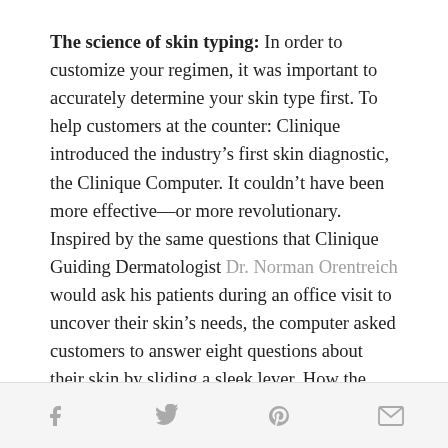The science of skin typing: In order to customize your regimen, it was important to accurately determine your skin type first. To help customers at the counter: Clinique introduced the industry's first skin diagnostic, the Clinique Computer. It couldn't have been more effective—or more revolutionary. Inspired by the same questions that Clinique Guiding Dermatologist Dr. Norman Orentreich would ask his patients during an office visit to uncover their skin's needs, the computer asked customers to answer eight questions about their skin by sliding a sleek lever. How the levers lined up instantly revealed their skin type. Today, all Clinique skin care is still categorized for the same skin types—Type 1: Very Dry/Dry; Type
f  y  p  [mail icon]